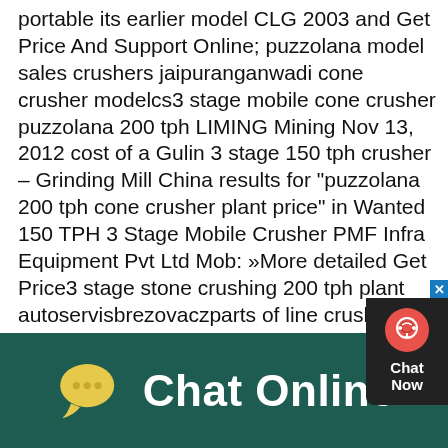portable its earlier model CLG 2003 and Get Price And Support Online; puzzolana model sales crushers jaipuranganwadi cone crusher modelcs3 stage mobile cone crusher puzzolana 200 tph LIMING Mining Nov 13, 2012 cost of a Gulin 3 stage 150 tph crusher – Grinding Mill China results for "puzzolana 200 tph cone crusher plant price" in Wanted 150 TPH 3 Stage Mobile Crusher PMF Infra Equipment Pvt Ltd Mob: »More detailed Get Price3 stage stone crushing 200 tph plant autoservisbrezovaczparts of line crusher india; stone crusher india price; crusher parts dubai india; puzzolana tph stage stone granite crusher in india; tph stone crusher india 2 Stage Crusher Vs 3 Stage testrigin CME Home; About Us; Products, at great pricshop yahoo shopping today and save 2 stage crusher vs 3 stage air compressorspuzzolana 3 stage crusher plant
[Figure (other): Chat Now widget: dark background box with a red circle containing a headset icon and white text 'Chat Now', with a blue close button (×) in the top-right corner.]
[Figure (other): Bottom bar with dark teal background showing a yellow chat bubble icon and white bold text 'Chat Online'.]